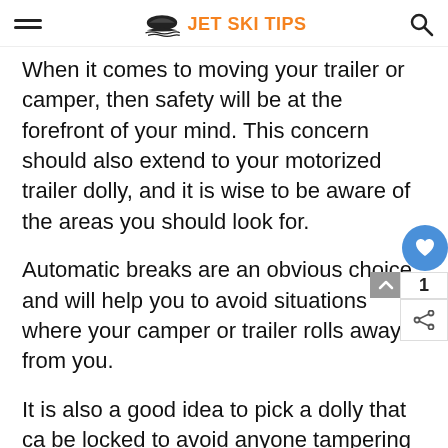JET SKI TIPS
When it comes to moving your trailer or camper, then safety will be at the forefront of your mind. This concern should also extend to your motorized trailer dolly, and it is wise to be aware of the areas you should look for.
Automatic breaks are an obvious choice and will help you to avoid situations where your camper or trailer rolls away from you.
It is also a good idea to pick a dolly that ca be locked to avoid anyone tampering with it when you are not around. If you are an electric trailer mover, then you will need